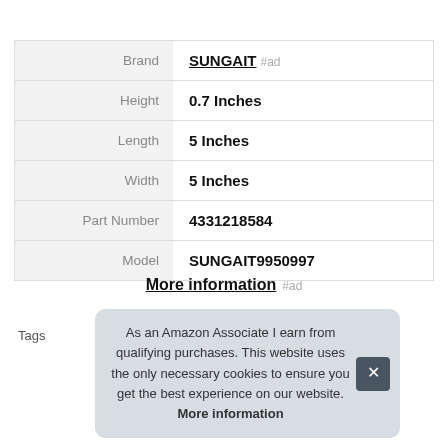|  |  |
| --- | --- |
| Brand | SUNGAIT #ad |
| Height | 0.7 Inches |
| Length | 5 Inches |
| Width | 5 Inches |
| Part Number | 4331218584 |
| Model | SUNGAIT9950997 |
More information #ad
Tags
As an Amazon Associate I earn from qualifying purchases. This website uses the only necessary cookies to ensure you get the best experience on our website. More information